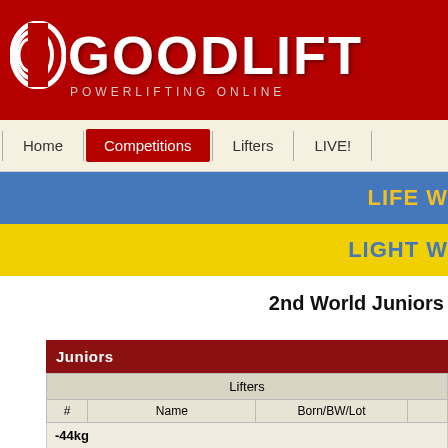[Figure (logo): Goodlift Powerlifting Online logo on red background]
Home | Competitions | Lifters | LIVE!
LIFE W...
LIGHT W...
2nd World Juniors
| # | Name | Born/BW/Lot |
| --- | --- | --- |
| -44kg |  |  |
| 1. | Summers Alesha | 1988 / 43.60 / 12 |
| -48kg |  |  |
| 1. | Makrai Eva | 1990 / 46.90 / 14 |